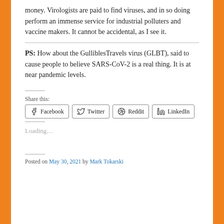money. Virologists are paid to find viruses, and in so doing perform an immense service for industrial polluters and vaccine makers. It cannot be accidental, as I see it.
PS: How about the GulliblesTravels virus (GLBT), said to cause people to believe SARS-CoV-2 is a real thing. It is at near pandemic levels.
Share this:
Facebook  Twitter  Reddit  LinkedIn
Loading…
Posted on May 30, 2021 by Mark Tokarski